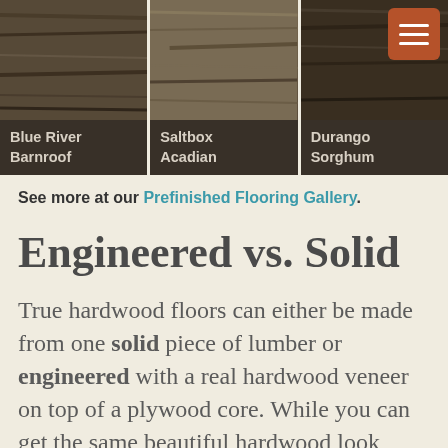[Figure (photo): Three wood flooring samples shown side by side: Blue River Barnroof (dark gray-brown), Saltbox Acadian (medium warm brown), Durango Sorghum (very dark brown). A hamburger menu button appears in the top right corner.]
See more at our Prefinished Flooring Gallery.
Engineered vs. Solid
True hardwood floors can either be made from one solid piece of lumber or engineered with a real hardwood veneer on top of a plywood core. While you can get the same beautiful hardwood look from both